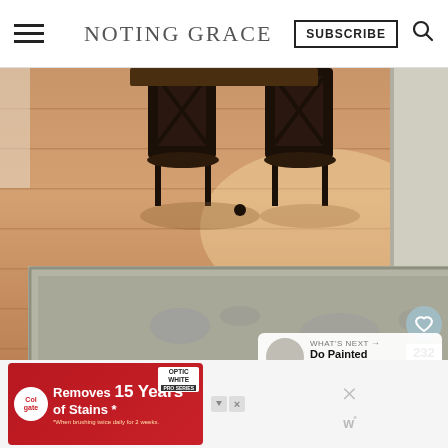NOTING GRACE | SUBSCRIBE
[Figure (photo): Interior photo of a dining area with hardwood floors, two dark wooden chairs at a table, and a light gray patterned area rug in the foreground. Natural light streams in from the right.]
232
WHAT'S NEXT → Do Painted Floor Tiles...
[Figure (photo): Advertisement for Colgate Optic White Pro Series toothpaste: 'Removes 15 Years of Stains*'. Red background with product image.]